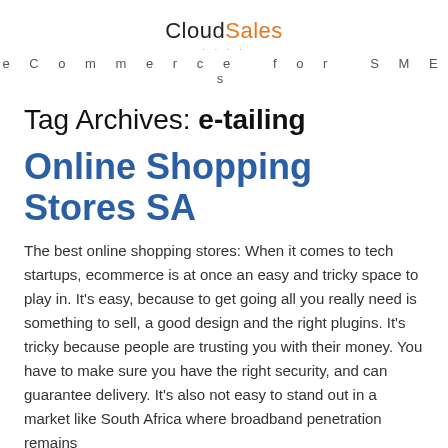CloudSales
eCommerce for SMEs
Tag Archives: e-tailing
Online Shopping Stores SA
The best online shopping stores: When it comes to tech startups, ecommerce is at once an easy and tricky space to play in. It's easy, because to get going all you really need is something to sell, a good design and the right plugins. It's tricky because people are trusting you with their money. You have to make sure you have the right security, and can guarantee delivery. It's also not easy to stand out in a market like South Africa where broadband penetration remains